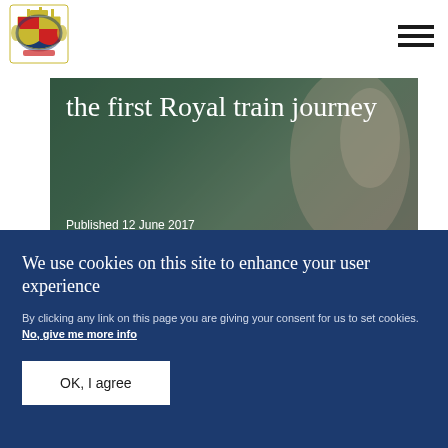[Figure (logo): Royal coat of arms logo in top-left corner]
[Figure (photo): Hero image showing the first Royal train journey with title overlay and green/warm background]
the first Royal train journey
Published 12 June 2017
We use cookies on this site to enhance your user experience
By clicking any link on this page you are giving your consent for us to set cookies. No, give me more info
OK, I agree